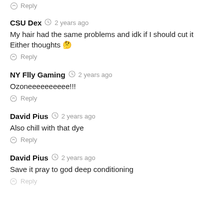Reply
CSU Dex  2 years ago
My hair had the same problems and idk if I should cut it Either thoughts 🤔
Reply
NY Flly Gaming  2 years ago
Ozoneeeeeeeeee!!!
Reply
David Pius  2 years ago
Also chill with that dye
Reply
David Pius  2 years ago
Save it pray to god deep conditioning
Reply